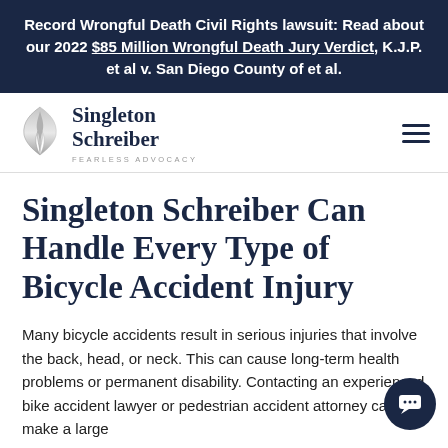Record Wrongful Death Civil Rights lawsuit: Read about our 2022 $85 Million Wrongful Death Jury Verdict, K.J.P. et al v. San Diego County of et al.
[Figure (logo): Singleton Schreiber law firm logo with stylized flame icon and text 'Singleton Schreiber FEARLESS ADVOCACY']
Singleton Schreiber Can Handle Every Type of Bicycle Accident Injury
Many bicycle accidents result in serious injuries that involve the back, head, or neck. This can cause long-term health problems or permanent disability. Contacting an experienced bike accident lawyer or pedestrian accident attorney can make a large...